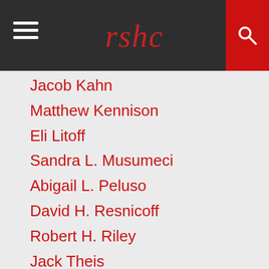rshc
Jacob Kahn
Matthew Kennison
Eli Litoff
Sandra L. Musumeci
Abigail L. Peluso
David H. Resnicoff
Robert H. Riley
Jack Theis
Kelly M. Warner
Eric D. Allison
Matthew A. Blumenreich